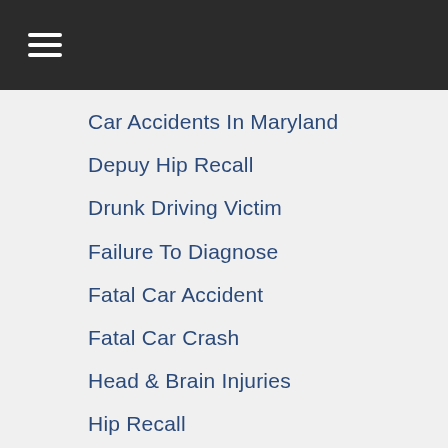Navigation menu header bar with hamburger icon
Car Accidents In Maryland
Depuy Hip Recall
Drunk Driving Victim
Failure To Diagnose
Fatal Car Accident
Fatal Car Crash
Head & Brain Injuries
Hip Recall
Hip Recall Lawsuit
Maryland Motorcycle Accident Claims
Maryland Personal Injury Claims
Medical Malpractice
Medical Malpractice Claims